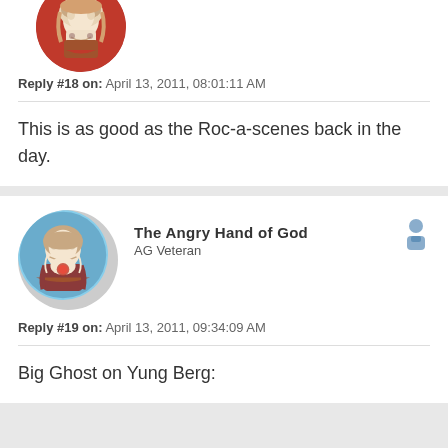[Figure (illustration): Circular avatar image of a bearded figure, partially cropped at top of page]
Reply #18 on: April 13, 2011, 08:01:11 AM
This is as good as the Roc-a-scenes back in the day.
[Figure (illustration): Circular avatar image of Jesus Christ holding sacred heart]
The Angry Hand of God
AG Veteran
Reply #19 on: April 13, 2011, 09:34:09 AM
Big Ghost on Yung Berg: